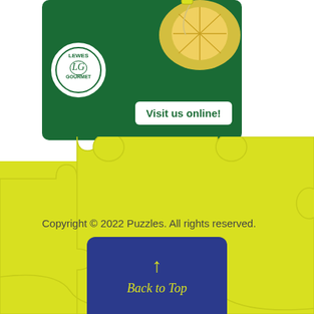[Figure (illustration): Lewes Gourmet advertisement banner with green background, circular LG logo, lemon tea cup image, and 'Visit us online!' button]
[Figure (illustration): Yellow puzzle pieces background filling the lower portion of the page]
Copyright © 2022 Puzzles. All rights reserved.
[Figure (illustration): Navy blue 'Back to Top' button with yellow upward arrow and italic yellow text 'Back to Top']